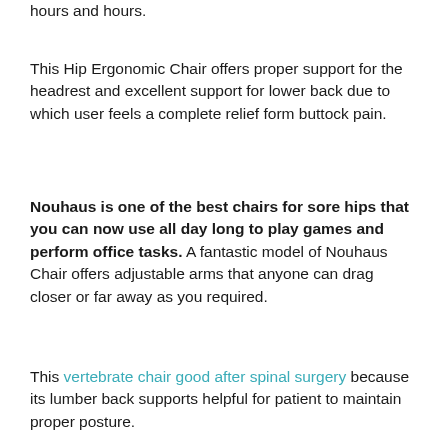hours and hours.
This Hip Ergonomic Chair offers proper support for the headrest and excellent support for lower back due to which user feels a complete relief form buttock pain.
Nouhaus is one of the best chairs for sore hips that you can now use all day long to play games and perform office tasks. A fantastic model of Nouhaus Chair offers adjustable arms that anyone can drag closer or far away as you required.
This vertebrate chair good after spinal surgery because its lumber back supports helpful for patient to maintain proper posture.